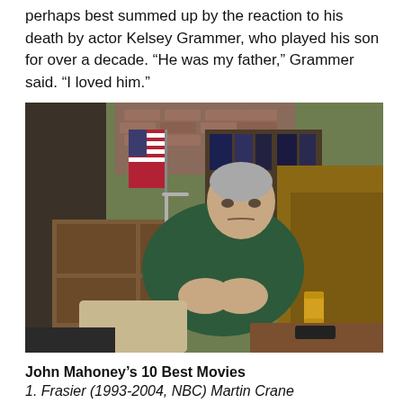perhaps best summed up by the reaction to his death by actor Kelsey Grammer, who played his son for over a decade. “He was my father,” Grammer said. “I loved him.”
[Figure (photo): John Mahoney sitting in a recliner chair on the Frasier TV set, wearing a dark green sweater, with a beer can on the table beside him, a walker visible nearby, and an American flag and bookshelf in the background.]
John Mahoney’s 10 Best Movies
1. Frasier (1993-2004, NBC) Martin Crane